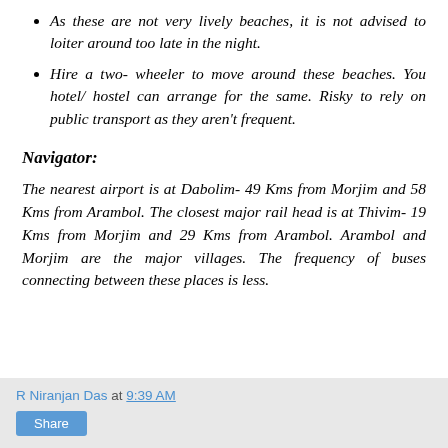As these are not very lively beaches, it is not advised to loiter around too late in the night.
Hire a two- wheeler to move around these beaches. You hotel/ hostel can arrange for the same. Risky to rely on public transport as they aren't frequent.
Navigator:
The nearest airport is at Dabolim- 49 Kms from Morjim and 58 Kms from Arambol. The closest major rail head is at Thivim- 19 Kms from Morjim and 29 Kms from Arambol. Arambol and Morjim are the major villages. The frequency of buses connecting between these places is less.
R Niranjan Das at 9:39 AM  Share